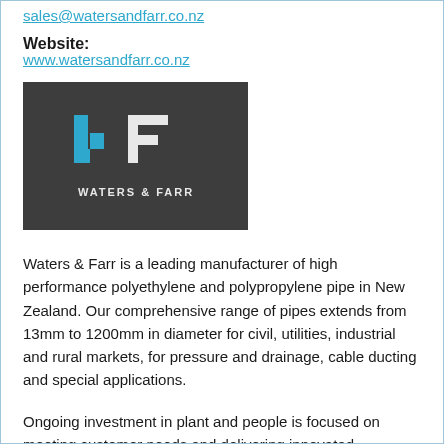sales@watersandfarr.co.nz
Website:
www.watersandfarr.co.nz
[Figure (logo): Waters & Farr logo on dark grey background with blue and white WF monogram and 'WATERS & FARR' text]
Waters & Farr is a leading manufacturer of high performance polyethylene and polypropylene pipe in New Zealand. Our comprehensive range of pipes extends from 13mm to 1200mm in diameter for civil, utilities, industrial and rural markets, for pressure and drainage, cable ducting and special applications.
Ongoing investment in plant and people is focused on meeting customer needs and delivering innovated solutions.
Part of the Hynds Group